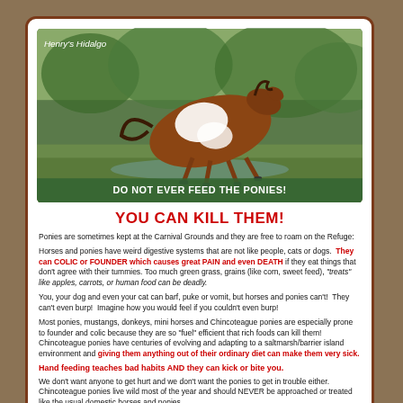[Figure (photo): A brown and white pinto pony running in a green field. Caption reads 'Henry's Hidalgo' at top left and 'DO NOT EVER FEED THE PONIES!' at bottom.]
YOU CAN KILL THEM!
Ponies are sometimes kept at the Carnival Grounds and they are free to roam on the Refuge:
Horses and ponies have weird digestive systems that are not like people, cats or dogs. They can COLIC or FOUNDER which causes great PAIN and even DEATH if they eat things that don't agree with their tummies. Too much green grass, grains (like corn, sweet feed), "treats" like apples, carrots, or human food can be deadly.
You, your dog and even your cat can barf, puke or vomit, but horses and ponies can't! They can't even burp! Imagine how you would feel if you couldn't even burp!
Most ponies, mustangs, donkeys, mini horses and Chincoteague ponies are especially prone to founder and colic because they are so "fuel" efficient that rich foods can kill them! Chincoteague ponies have centuries of evolving and adapting to a saltmarsh/barrier island environment and giving them anything out of their ordinary diet can make them very sick.
Hand feeding teaches bad habits AND they can kick or bite you.
We don't want anyone to get hurt and we don't want the ponies to get in trouble either. Chincoteague ponies live wild most of the year and should NEVER be approached or treated like the usual domestic horses and ponies.